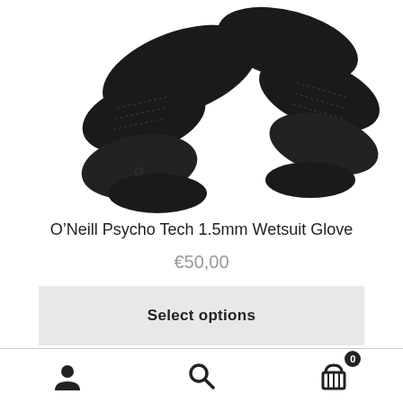[Figure (photo): Black O'Neill wetsuit glove product photo on white background]
O’Neill Psycho Tech 1.5mm Wetsuit Glove
€50,00
Select options
[Figure (photo): Two bodyboards shown from above: one red on left, one white with blue logo on right]
User icon, Search icon, Cart icon with 0 badge